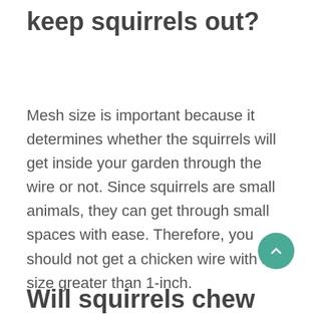What size chicken wire keep squirrels out?
Mesh size is important because it determines whether the squirrels will get inside your garden through the wire or not. Since squirrels are small animals, they can get through small spaces with ease. Therefore, you should not get a chicken wire with a size greater than 1-inch.
Will squirrels chew